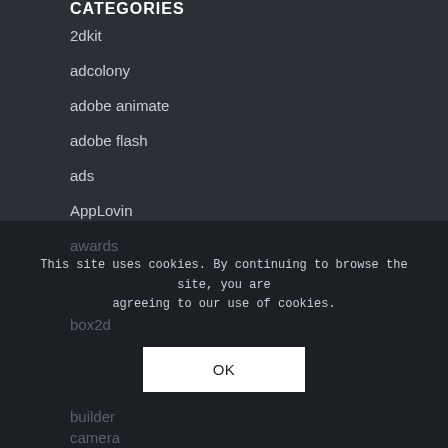CATEGORIES
2dkit
adcolony
adobe animate
adobe flash
ads
AppLovin
AppLovin playable ads
appreciate
assets
audience network
awards
box2d
builder
camera
This site uses cookies. By continuing to browse the site, you are agreeing to our use of cookies.
OK